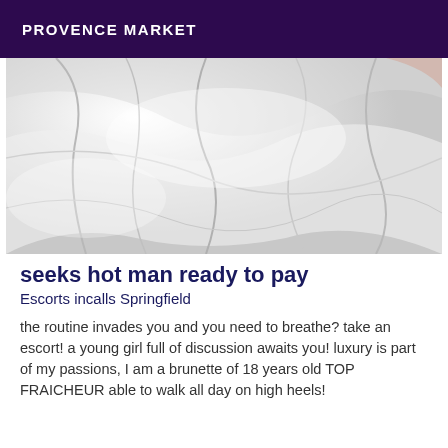PROVENCE MARKET
[Figure (photo): Close-up photo of white crumpled fabric or bedsheets with soft folds and shadows]
seeks hot man ready to pay
Escorts incalls Springfield
the routine invades you and you need to breathe? take an escort! a young girl full of discussion awaits you! luxury is part of my passions, I am a brunette of 18 years old TOP FRAICHEUR able to walk all day on high heels!